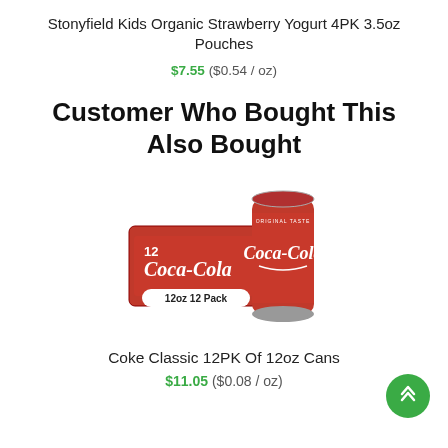Stonyfield Kids Organic Strawberry Yogurt 4PK 3.5oz Pouches
$7.55 ($0.54 / oz)
Customer Who Bought This Also Bought
[Figure (photo): Coca-Cola Classic 12oz 12 Pack product image showing a box and a single can of Coca-Cola]
Coke Classic 12PK Of 12oz Cans
$11.05 ($0.08 / oz)